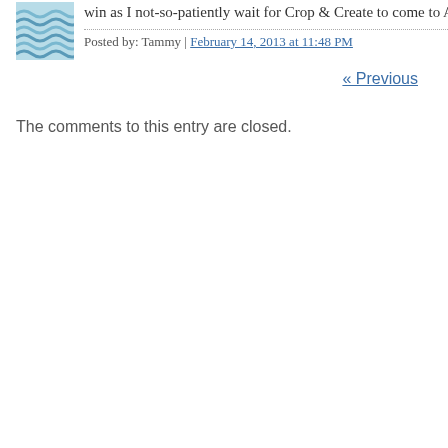[Figure (photo): Small square avatar image showing blue wavy water/wave pattern]
win as I not-so-patiently wait for Crop & Create to come to Alber
Posted by: Tammy | February 14, 2013 at 11:48 PM
« Previous
The comments to this entry are closed.